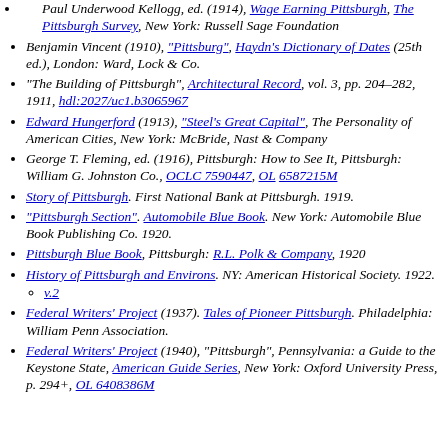Paul Underwood Kellogg, ed. (1914), Wage Earning Pittsburgh, The Pittsburgh Survey, New York: Russell Sage Foundation
Benjamin Vincent (1910), "Pittsburg", Haydn's Dictionary of Dates (25th ed.), London: Ward, Lock & Co.
"The Building of Pittsburgh", Architectural Record, vol. 3, pp. 204–282, 1911, hdl:2027/uc1.b3065967
Edward Hungerford (1913), "Steel's Great Capital", The Personality of American Cities, New York: McBride, Nast & Company
George T. Fleming, ed. (1916), Pittsburgh: How to See It, Pittsburgh: William G. Johnston Co., OCLC 7590447, OL 6587215M
Story of Pittsburgh. First National Bank at Pittsburgh. 1919.
"Pittsburgh Section". Automobile Blue Book. New York: Automobile Blue Book Publishing Co. 1920.
Pittsburgh Blue Book, Pittsburgh: R.L. Polk & Company, 1920
History of Pittsburgh and Environs. NY: American Historical Society. 1922.
v.2
Federal Writers' Project (1937). Tales of Pioneer Pittsburgh. Philadelphia: William Penn Association.
Federal Writers' Project (1940), "Pittsburgh", Pennsylvania: a Guide to the Keystone State, American Guide Series, New York: Oxford University Press, p. 294+, OL 6408386M